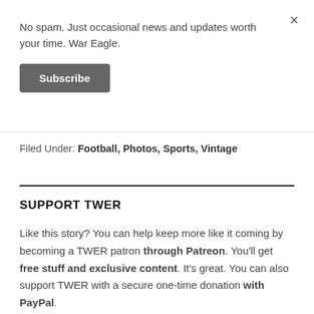No spam. Just occasional news and updates worth your time. War Eagle.
Subscribe
Filed Under: Football, Photos, Sports, Vintage
SUPPORT TWER
Like this story? You can help keep more like it coming by becoming a TWER patron through Patreon. You'll get free stuff and exclusive content. It's great. You can also support TWER with a secure one-time donation with PayPal.